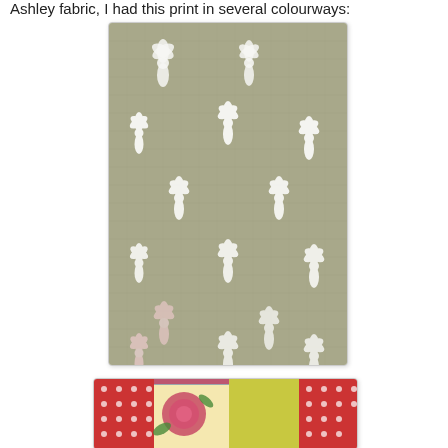Ashley fabric, I had this print in several colourways:
[Figure (photo): Close-up photograph of a sage green fabric with a repeating white daisy/snowflake pattern printed on it. The fabric has a grid-like woven texture visible underneath the print.]
[Figure (photo): Photograph of a colorful patchwork quilt or fabric piece, featuring sections of red polka-dot fabric, floral rose print on cream/yellow background, and yellow-green solid fabric arranged in a patchwork pattern.]